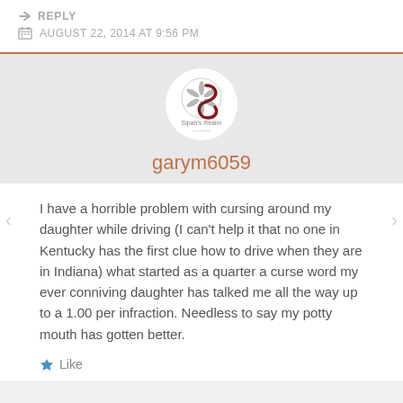REPLY
AUGUST 22, 2014 AT 9:56 PM
[Figure (logo): Sipah's Realm logo - circular camera aperture with letter S]
garym6059
I have a horrible problem with cursing around my daughter while driving (I can't help it that no one in Kentucky has the first clue how to drive when they are in Indiana) what started as a quarter a curse word my ever conniving daughter has talked me all the way up to a 1.00 per infraction. Needless to say my potty mouth has gotten better.
Like